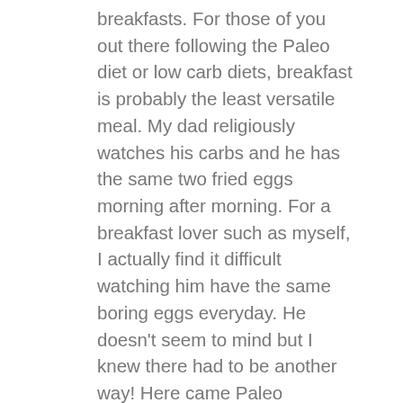breakfasts. For those of you out there following the Paleo diet or low carb diets, breakfast is probably the least versatile meal. My dad religiously watches his carbs and he has the same two fried eggs morning after morning. For a breakfast lover such as myself, I actually find it difficult watching him have the same boring eggs everyday. He doesn't seem to mind but I knew there had to be another way! Here came Paleo porridge. A low carb rendition of the ever so popular oatmeal. Made up of ground almonds, coconut and flax seeds this breakfast is sure to fill up your anti-wheat belly and give you a boost of healthy omega-3s, fibre and protein. Did I also mention that this breakfast is grain-free, gluten-free, sugar-free and vegan? Well, now you know.This breakfast is so simple to put together and will be sure to satisfy the comfort food craving you grain-free followers have been longing for. This Clean Eating Goldilocks sure would be fooled by this bowl porridge! (LOL)